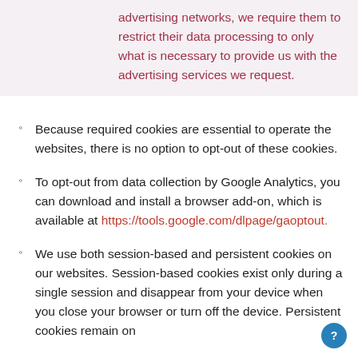advertising networks, we require them to restrict their data processing to only what is necessary to provide us with the advertising services we request.
Because required cookies are essential to operate the websites, there is no option to opt-out of these cookies.
To opt-out from data collection by Google Analytics, you can download and install a browser add-on, which is available at https://tools.google.com/dlpage/gaoptout.
We use both session-based and persistent cookies on our websites. Session-based cookies exist only during a single session and disappear from your device when you close your browser or turn off the device. Persistent cookies remain on